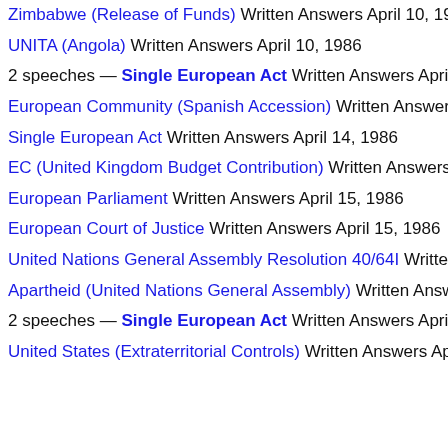Zimbabwe (Release of Funds) Written Answers April 10, 1986
UNITA (Angola) Written Answers April 10, 1986
2 speeches — Single European Act Written Answers April 11
European Community (Spanish Accession) Written Answers Ap
Single European Act Written Answers April 14, 1986
EC (United Kingdom Budget Contribution) Written Answers Ap
European Parliament Written Answers April 15, 1986
European Court of Justice Written Answers April 15, 1986
United Nations General Assembly Resolution 40/64I Written An
Apartheid (United Nations General Assembly) Written Answers
2 speeches — Single European Act Written Answers April 16
United States (Extraterritorial Controls) Written Answers April 2